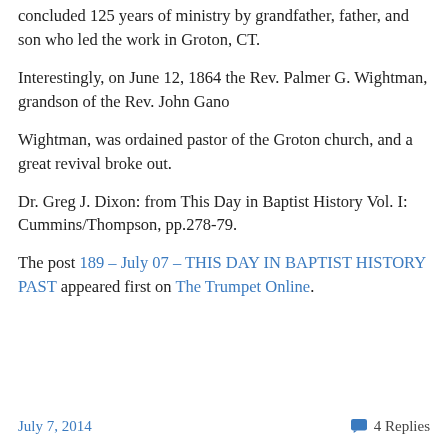concluded 125 years of ministry by grandfather, father, and son who led the work in Groton, CT.
Interestingly, on June 12, 1864 the Rev. Palmer G. Wightman, grandson of the Rev. John Gano
Wightman, was ordained pastor of the Groton church, and a great revival broke out.
Dr. Greg J. Dixon: from This Day in Baptist History Vol. I: Cummins/Thompson, pp.278-79.
The post 189 – July 07 – THIS DAY IN BAPTIST HISTORY PAST appeared first on The Trumpet Online.
July 7, 2014   4 Replies